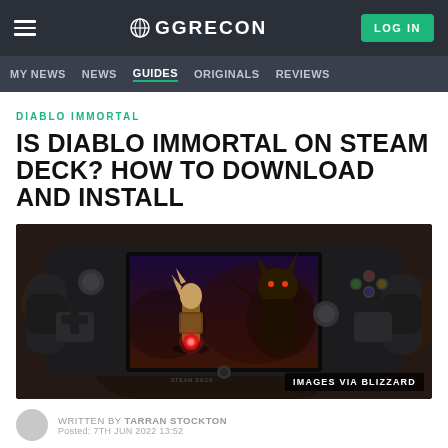GGRECON — LOG IN
MY NEWS  NEWS  GUIDES  ORIGINALS  REVIEWS
DIABLO IMMORTAL
IS DIABLO IMMORTAL ON STEAM DECK? HOW TO DOWNLOAD AND INSTALL
[Figure (photo): Steam Deck handheld gaming device showing Diablo Immortal gameplay on screen, with game art featuring a warrior character with glowing red orb facing a large demon. Image credit: IMAGES VIA BLIZZARD]
WRITTEN BY TARRAN STOCKTON
Posted: 7TH JUN 2022 13:52